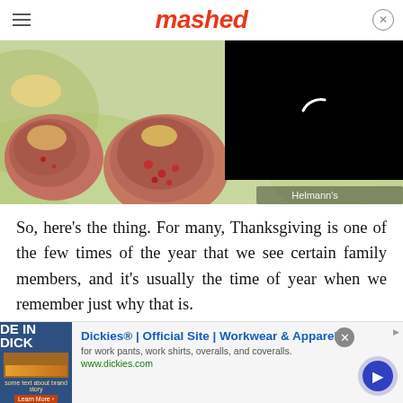mashed
[Figure (photo): Food photo showing stuffed meat balls or cabbage rolls on green lettuce leaves, with a black video overlay panel on the right side showing a loading spinner. Watermark reads 'Helmann's'.]
So, here's the thing. For many, Thanksgiving is one of the few times of the year that we see certain family members, and it's usually the time of year when we remember just why that is.
[Figure (screenshot): Advertisement banner for Dickies. Shows 'DE IN DICK' text with a landscape image. Ad title: 'Dickies® | Official Site | Workwear & Apparel', description: 'for work pants, work shirts, overalls, and coveralls.', URL: 'www.dickies.com'. Has a close button and a circular arrow navigation button.]